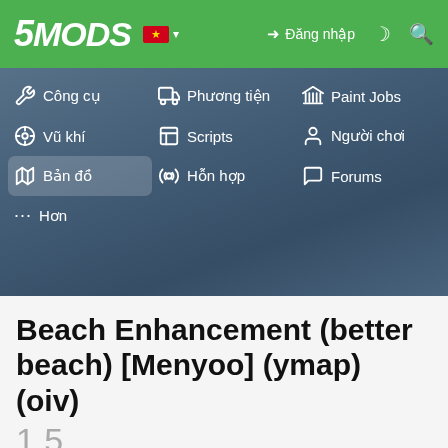5MODS | Đăng nhập
[Figure (screenshot): 5Mods website navigation menu with Vietnamese language selected. Green top bar with 5MODS logo, Vietnamese flag, Đăng nhập (login) button. Menu items: Công cụ, Phương tiện, Paint Jobs, Vũ khí, Scripts, Người chơi, Bản đồ (active/highlighted), Hỗn hợp, Forums, Hơn. Background is blurred dark aerial/map image.]
Beach Enhancement (better beach) [Menyoo] (ymap) (oiv)
1.5